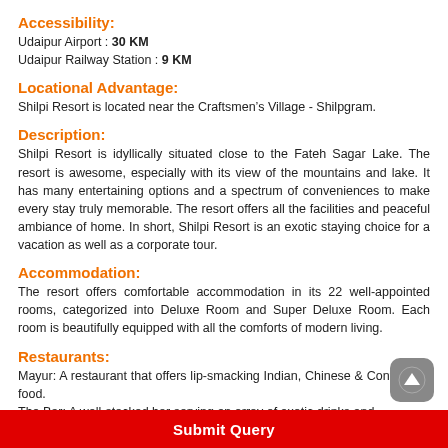Accessibility:
Udaipur Airport : 30 KM
Udaipur Railway Station : 9 KM
Locational Advantage:
Shilpi Resort is located near the Craftsmen’s Village - Shilpgram.
Description:
Shilpi Resort is idyllically situated close to the Fateh Sagar Lake. The resort is awesome, especially with its view of the mountains and lake. It has many entertaining options and a spectrum of conveniences to make every stay truly memorable. The resort offers all the facilities and peaceful ambiance of home. In short, Shilpi Resort is an exotic staying choice for a vacation as well as a corporate tour.
Accommodation:
The resort offers comfortable accommodation in its 22 well-appointed rooms, categorized into Deluxe Room and Super Deluxe Room. Each room is beautifully equipped with all the comforts of modern living.
Restaurants:
Mayur: A restaurant that offers lip-smacking Indian, Chinese & Continental food.
The Bar: A well-stocked bar serving an array of exotic drinks and
Submit Query